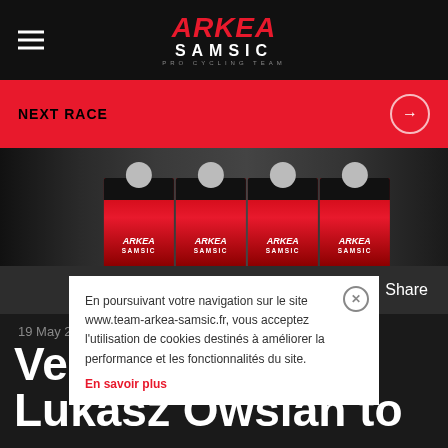[Figure (logo): Arkea Samsic Pro Cycling Team logo with hamburger menu icon on dark header]
NEXT RACE
[Figure (photo): Team photo showing multiple cyclists in Arkea Samsic red jerseys standing in a row]
Share
19 May 2022
En poursuivant votre navigation sur le site www.team-arkea-samsic.fr, vous acceptez l'utilisation de cookies destinés à améliorer la performance et les fonctionnalités du site.
En savoir plus
Veen... Lukasz Owsian to